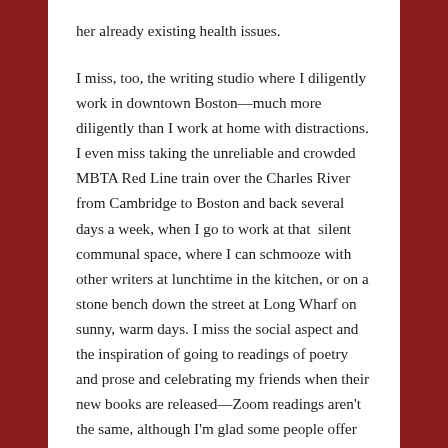her already existing health issues.
I miss, too, the writing studio where I diligently work in downtown Boston—much more diligently than I work at home with distractions. I even miss taking the unreliable and crowded MBTA Red Line train over the Charles River from Cambridge to Boston and back several days a week, when I go to work at that  silent communal space, where I can schmooze with other writers at lunchtime in the kitchen, or on a stone bench down the street at Long Wharf on sunny, warm days. I miss the social aspect and the inspiration of going to readings of poetry and prose and celebrating my friends when their new books are released—Zoom readings aren't the same, although I'm glad some people offer them.
My freelance coaching of writing students has been